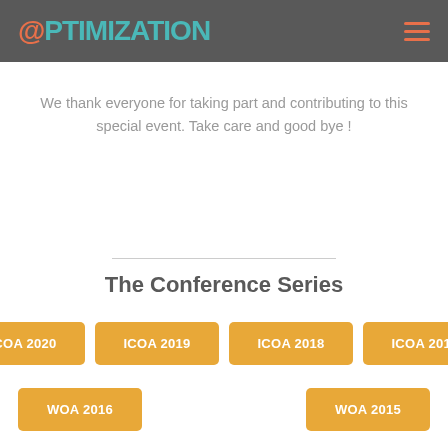OPTIMIZATION
We thank everyone for taking part and contributing to this special event. Take care and good bye !
The Conference Series
ICOA 2020
ICOA 2019
ICOA 2018
ICOA 2017
WOA 2016
WOA 2015